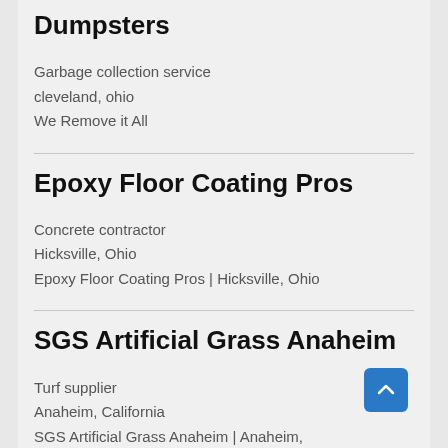Dumpsters
Garbage collection service
cleveland, ohio
We Remove it All
Epoxy Floor Coating Pros
Concrete contractor
Hicksville, Ohio
Epoxy Floor Coating Pros | Hicksville, Ohio
SGS Artificial Grass Anaheim
Turf supplier
Anaheim, California
SGS Artificial Grass Anaheim | Anaheim,